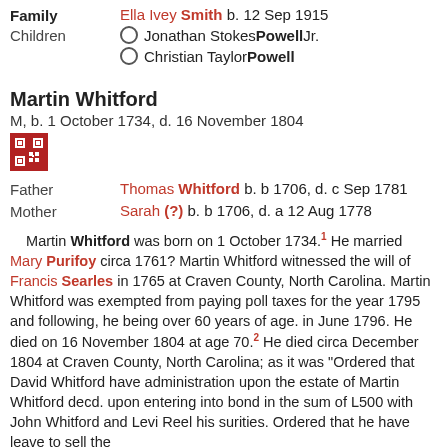Family: Ella Ivey Smith b. 12 Sep 1915
Jonathan Stokes Powell Jr.
Christian Taylor Powell
Martin Whitford
M, b. 1 October 1734, d. 16 November 1804
Father: Thomas Whitford b. b 1706, d. c Sep 1781
Mother: Sarah (?) b. b 1706, d. a 12 Aug 1778
Martin Whitford was born on 1 October 1734.1 He married Mary Purifoy circa 1761? Martin Whitford witnessed the will of Francis Searles in 1765 at Craven County, North Carolina. Martin Whitford was exempted from paying poll taxes for the year 1795 and following, he being over 60 years of age. in June 1796. He died on 16 November 1804 at age 70.2 He died circa December 1804 at Craven County, North Carolina; as it was "Ordered that David Whitford have administration upon the estate of Martin Whitford decd. upon entering into bond in the sum of L500 with John Whitford and Levi Reel his surities. Ordered that he have leave to sell the